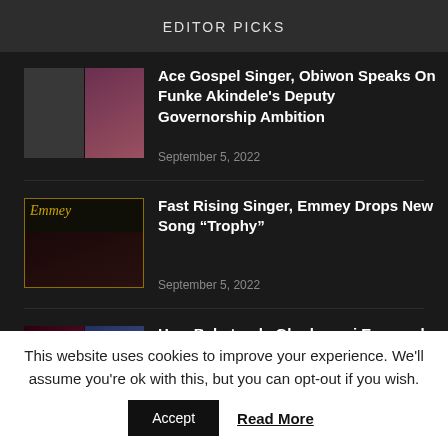EDITOR PICKS
[Figure (photo): Collage of two photos: black-and-white portrait and a woman in colorful dress]
Ace Gospel Singer, Obiwon Speaks On Funke Akindele's Deputy Governorship Ambition
September 5, 2022
[Figure (photo): Album cover with gold 'Emmey' script text and couple silhouette on dark background]
Fast Rising Singer, Emmey Drops New Song “Trophy”
September 5, 2022
[Figure (photo): Collage of four photos: woman with red hair, man in blue, close-up face, street scene]
How Babatunde Gbadamosi Engaged Defamatory Experts Adeyinka Igbinoba To Frame Me...
September 4, 2022
This website uses cookies to improve your experience. We'll assume you're ok with this, but you can opt-out if you wish.